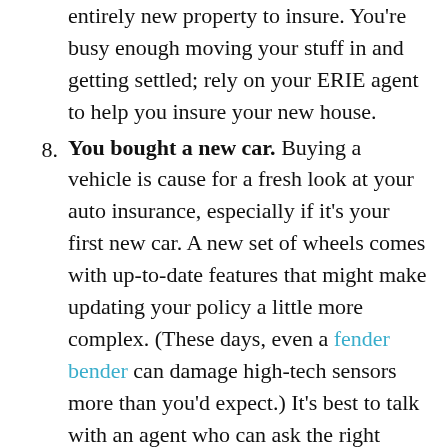entirely new property to insure. You're busy enough moving your stuff in and getting settled; rely on your ERIE agent to help you insure your new house.
8. You bought a new car. Buying a vehicle is cause for a fresh look at your auto insurance, especially if it's your first new car. A new set of wheels comes with up-to-date features that might make updating your policy a little more complex. (These days, even a fender bender can damage high-tech sensors more than you'd expect.) It's best to talk with an agent who can ask the right questions so your ride is well protected.
9. You started a business. Business insurance is meant to help protect your new venture, even if it's out of your home. An expert on business...